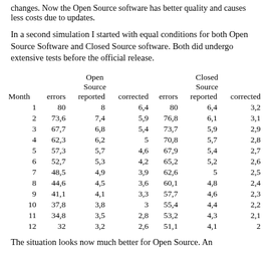changes. Now the Open Source software has better quality and causes less costs due to updates.
In a second simulation I started with equal conditions for both Open Source Software and Closed Source software. Both did undergo extensive tests before the official release.
| Month | Open Source errors | Open Source reported | Open Source corrected | Closed Source errors | Closed Source reported | Closed Source corrected |
| --- | --- | --- | --- | --- | --- | --- |
| 1 | 80 | 8 | 6,4 | 80 | 6,4 | 3,2 |
| 2 | 73,6 | 7,4 | 5,9 | 76,8 | 6,1 | 3,1 |
| 3 | 67,7 | 6,8 | 5,4 | 73,7 | 5,9 | 2,9 |
| 4 | 62,3 | 6,2 | 5 | 70,8 | 5,7 | 2,8 |
| 5 | 57,3 | 5,7 | 4,6 | 67,9 | 5,4 | 2,7 |
| 6 | 52,7 | 5,3 | 4,2 | 65,2 | 5,2 | 2,6 |
| 7 | 48,5 | 4,9 | 3,9 | 62,6 | 5 | 2,5 |
| 8 | 44,6 | 4,5 | 3,6 | 60,1 | 4,8 | 2,4 |
| 9 | 41,1 | 4,1 | 3,3 | 57,7 | 4,6 | 2,3 |
| 10 | 37,8 | 3,8 | 3 | 55,4 | 4,4 | 2,2 |
| 11 | 34,8 | 3,5 | 2,8 | 53,2 | 4,3 | 2,1 |
| 12 | 32 | 3,2 | 2,6 | 51,1 | 4,1 | 2 |
The situation looks now much better for Open Source. An